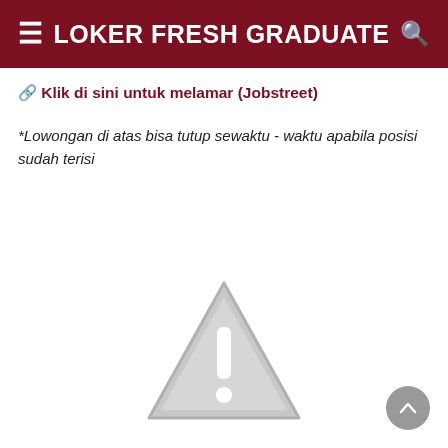LOKER FRESH GRADUATE
🔗 Klik di sini untuk melamar (Jobstreet)
*Lowongan di atas bisa tutup sewaktu - waktu apabila posisi sudah terisi
[Figure (illustration): Warning/caution triangle icon with exclamation mark, gray colored, broken image placeholder style]